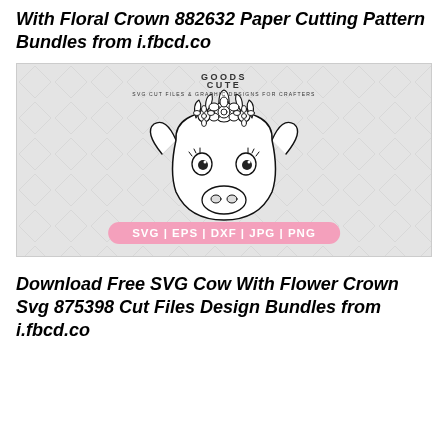With Floral Crown 882632 Paper Cutting Pattern Bundles from i.fbcd.co
[Figure (illustration): SVG cut file product preview showing a cow face with a floral crown, on a light gray diamond-pattern background. Top center shows 'GOODS CUTE / SVG CUT FILES & GRAPHIC DESIGNS FOR CRAFTERS' branding. Bottom center shows a pink pill badge reading 'SVG | EPS | DXF | JPG | PNG'.]
Download Free SVG Cow With Flower Crown Svg 875398 Cut Files Design Bundles from i.fbcd.co